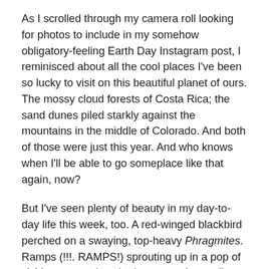As I scrolled through my camera roll looking for photos to include in my somehow obligatory-feeling Earth Day Instagram post, I reminisced about all the cool places I've been so lucky to visit on this beautiful planet of ours. The mossy cloud forests of Costa Rica; the sand dunes piled starkly against the mountains in the middle of Colorado. And both of those were just this year. And who knows when I'll be able to go someplace like that again, now?
But I've seen plenty of beauty in my day-to-day life this week, too. A red-winged blackbird perched on a swaying, top-heavy Phragmites. Ramps (!!!. RAMPS!) sprouting up in a pop of vivid green against the brown earth, startling me with their vibrancy. The fuzzy outlines of dozens of blossoming trees lining the highways I drove down today. The unmistakable and ever-growing red buds of the maple in the backyard I left. Black-capped chickadees chattering in a tree not ten feet from me.